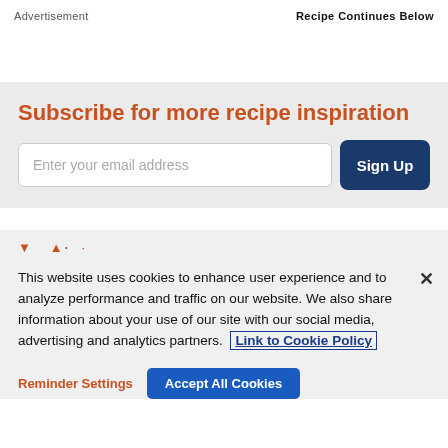Advertisement   Recipe Continues Below
Subscribe for more recipe inspiration
Enter your email address
Sign Up
This website uses cookies to enhance user experience and to analyze performance and traffic on our website. We also share information about your use of our site with our social media, advertising and analytics partners.
Link to Cookie Policy